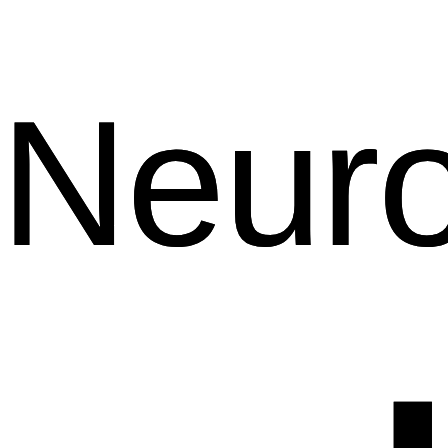Neurosurgery HUB
Hello There, Guest! Login Register
Neurosurgery Hub › For Medical Students › USMLE
Step 2 CS During subi or late